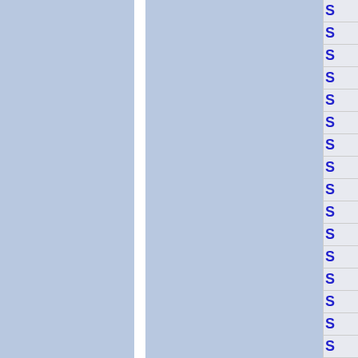[Figure (other): Page layout showing two large blue-grey column panels separated by a white vertical divider, with a right-side column containing a series of rows each displaying the letter S in blue]
| S |
| --- |
| S |
| S |
| S |
| S |
| S |
| S |
| S |
| S |
| S |
| S |
| S |
| S |
| S |
| S |
| S |
| S |